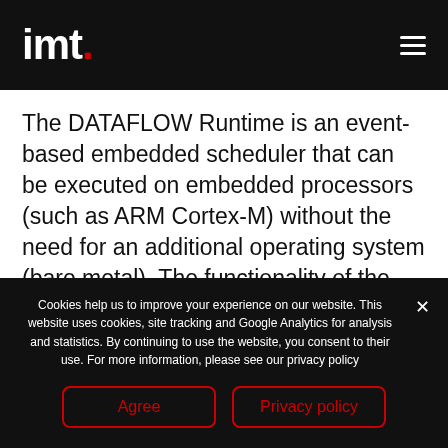imt.
The DATAFLOW Runtime is an event-based embedded scheduler that can be executed on embedded processors (such as ARM Cortex-M) without the need for an additional operating system (bare metal). The functionality of the firmware is implemented using the Active Object Design
Cookies help us to improve your experience on our website. This website uses cookies, site tracking and Google Analytics for analysis and statistics. By continuing to use the website, you consent to their use. For more information, please see our privacy policy
Agree
Privacy policy